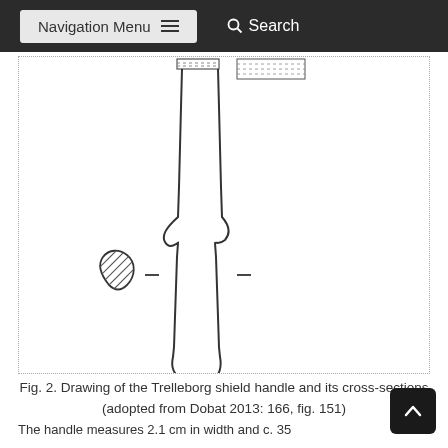Navigation Menu   Search
[Figure (illustration): Drawing of the Trelleborg shield handle and its cross-sections. Shows a long narrow vertical handle with organic outlines, a small triangular cross-section piece at lower left with hatching, and two short horizontal dashes indicating measurement points on the handle.]
Fig. 2. Drawing of the Trelleborg shield handle and its cross-sections (adopted from Dobat 2013: 166, fig. 151)
The handle measures 2.1 cm in width and c. 35